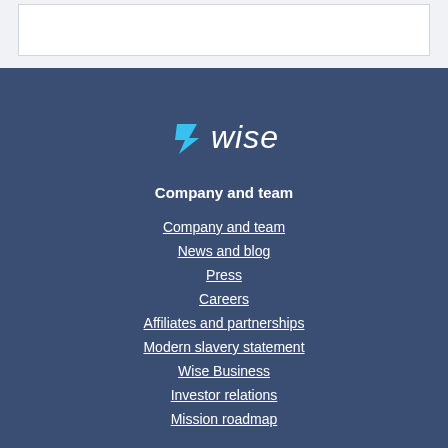[Figure (logo): Wise logo with lightning bolt icon in blue and white italic 'wise' text]
Company and team
Company and team
News and blog
Press
Careers
Affiliates and partnerships
Modern slavery statement
Wise Business
Investor relations
Mission roadmap